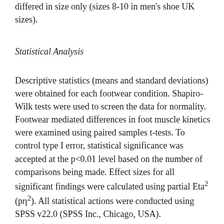differed in size only (sizes 8-10 in men's shoe UK sizes).
Statistical Analysis
Descriptive statistics (means and standard deviations) were obtained for each footwear condition. Shapiro-Wilk tests were used to screen the data for normality. Footwear mediated differences in foot muscle kinetics were examined using paired samples t-tests. To control type I error, statistical significance was accepted at the p<0.01 level based on the number of comparisons being made. Effect sizes for all significant findings were calculated using partial Eta² (pη²). All statistical actions were conducted using SPSS v22.0 (SPSS Inc., Chicago, USA).